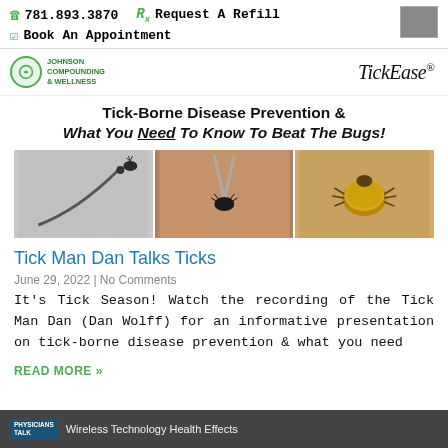781.893.3870   Rx Request A Refill   Book An Appointment
[Figure (logo): Johnson Compounding & Wellness logo on left, TickEase logo on right]
Tick-Borne Disease Prevention & What You Need To Know To Beat The Bugs!
[Figure (photo): Three-panel photo strip showing tick removal tool with tick, tick being removed with tweezers, and engorged tick on skin]
Tick Man Dan Talks Ticks
June 29, 2022 | No Comments
It's Tick Season! Watch the recording of the Tick Man Dan (Dan Wolff) for an informative presentation on tick-borne disease prevention & what you need
READ MORE »
[Figure (screenshot): Bottom teaser banner showing 'Wireless Technology Health Effects' with Physicians logo]